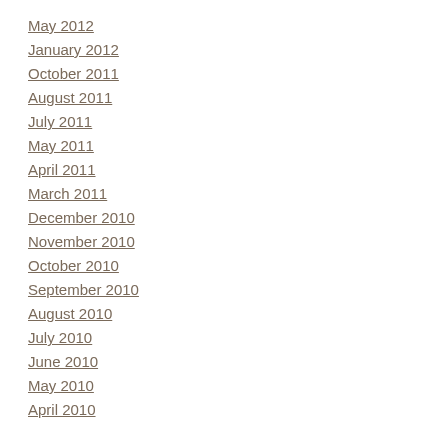May 2012
January 2012
October 2011
August 2011
July 2011
May 2011
April 2011
March 2011
December 2010
November 2010
October 2010
September 2010
August 2010
July 2010
June 2010
May 2010
April 2010